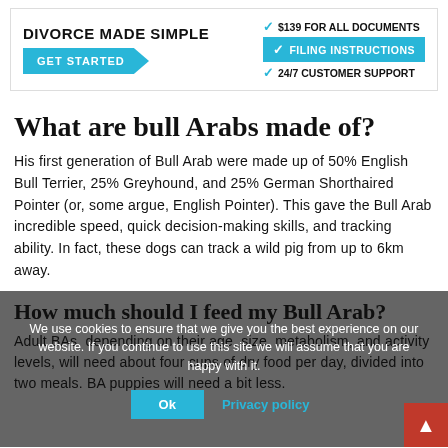[Figure (infographic): Advertisement banner: DIVORCE MADE SIMPLE with GET STARTED button, $139 FOR ALL DOCUMENTS, FILING INSTRUCTIONS, 24/7 CUSTOMER SUPPORT]
What are bull Arabs made of?
His first generation of Bull Arab were made up of 50% English Bull Terrier, 25% Greyhound, and 25% German Shorthaired Pointer (or, some argue, English Pointer). This gave the Bull Arab incredible speed, quick decision-making skills, and tracking ability. In fact, these dogs can track a wild pig from up to 6km away.
How much should I feed my Bull Arab?
Adult BAs, depending on their age, size, metabolism, and activity levels, will need about four cups of dry food per day, divided into two meals. BA puppies will need a bit less.
We use cookies to ensure that we give you the best experience on our website. If you continue to use this site we will assume that you are happy with it.